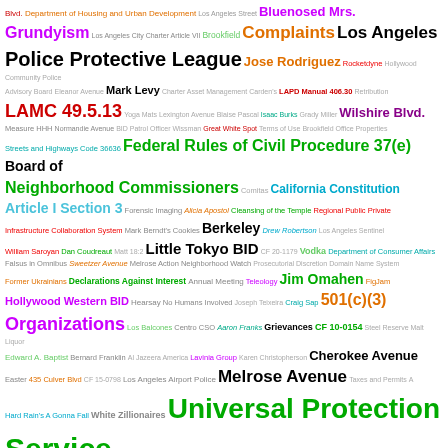[Figure (infographic): Word cloud containing government, legal, and civic terms related to Los Angeles. Terms vary in size, color, and font weight to indicate frequency/importance. Includes terms such as 'Universal Protection Service', 'Los Angeles Police Protective League', 'Federal Rules of Civil Procedure 37(e)', 'Board of Neighborhood Commissioners', 'California Constitution Article I Section 3', 'Little Tokyo BID', 'Melrose Avenue', 'Tony Richman', 'History of Sidewalk Obstruction in Los Angeles', '501(c)(3) Organizations', 'Bluenosed Mrs.', 'Grundyism', 'Complaints', 'LAMC 49.5.13', 'Wilshire Blvd.', 'Berkeley', 'Jim Omahen', 'Cherokee Avenue', 'White Zillionaires', and many more.]